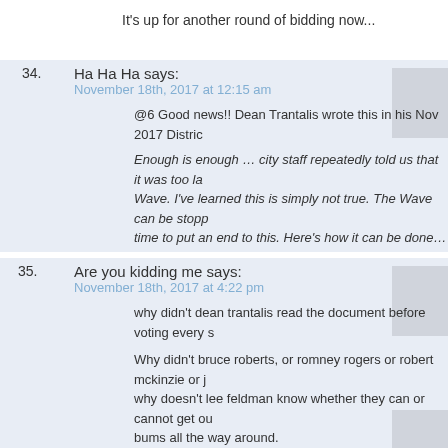It's up for another round of bidding now...
34. Ha Ha Ha says:
November 18th, 2017 at 12:15 am
@6 Good news!! Dean Trantalis wrote this in his Nov 2017 Distric...
Enough is enough … city staff repeatedly told us that it was too la... Wave. I've learned this is simply not true. The Wave can be stopp... time to put an end to this. Here's how it can be done…
http://www.fortlauderdale.gov/home/showdocument?id=26309
35. Are you kidding me says:
November 18th, 2017 at 4:22 pm
why didn't dean trantalis read the document before voting every s...
Why didn't bruce roberts, or romney rogers or robert mckinzie or j... why doesn't lee feldman know whether they can or cannot get ou... bums all the way around.